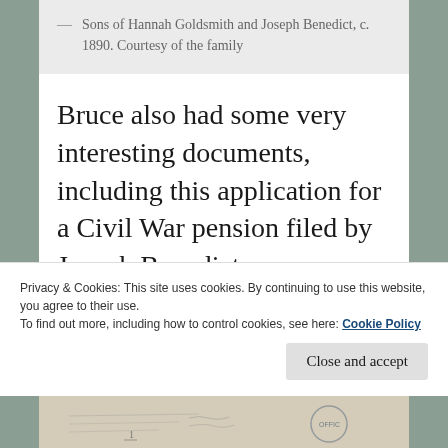— Sons of Hannah Goldsmith and Joseph Benedict, c. 1890. Courtesy of the family
Bruce also had some very interesting documents, including this application for a Civil War pension filed by Joseph Benedict:
Privacy & Cookies: This site uses cookies. By continuing to use this website, you agree to their use.
To find out more, including how to control cookies, see here: Cookie Policy
[Figure (other): Bottom strip showing partial view of a historical document with handwriting and an official stamp or seal marked 'OFFIC']